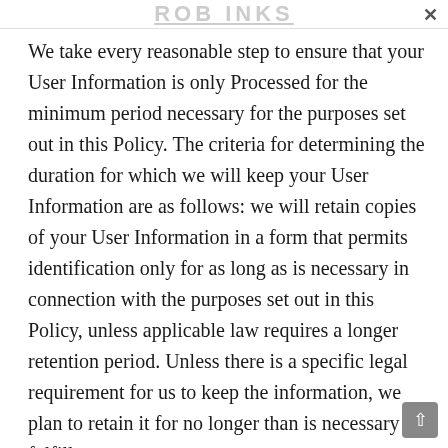ROB INKS
We take every reasonable step to ensure that your User Information is only Processed for the minimum period necessary for the purposes set out in this Policy. The criteria for determining the duration for which we will keep your User Information are as follows: we will retain copies of your User Information in a form that permits identification only for as long as is necessary in connection with the purposes set out in this Policy, unless applicable law requires a longer retention period. Unless there is a specific legal requirement for us to keep the information, we plan to retain it for no longer than is necessary to fulfill a